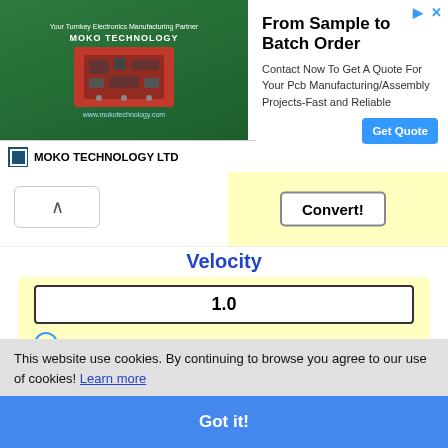[Figure (screenshot): Advertisement banner for MOKO TECHNOLOGY LTD - From Sample to Batch Order, PCB manufacturing]
Convert!
Velocity
1.0
m/s (selected)
km/h
ft/min
ft/s
mph
knots
This website use cookies. By continuing to browse you agree to our use of cookies! Learn more
Got it!
1.0